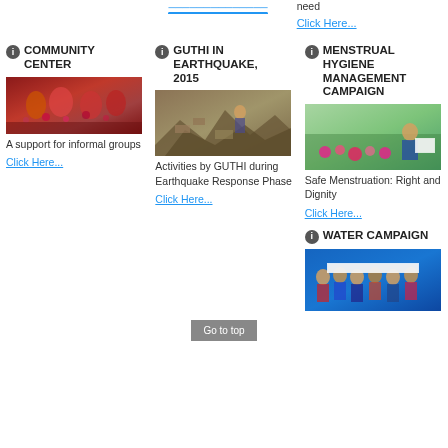need
Click Here...
COMMUNITY CENTER
[Figure (photo): Women in traditional Nepali attire with flowers]
A support for informal groups
Click Here...
GUTHI IN EARTHQUAKE, 2015
[Figure (photo): Earthquake destruction scene, rubble and damaged buildings]
Activities by GUTHI during Earthquake Response Phase
Click Here...
MENSTRUAL HYGIENE MANAGEMENT CAMPAIGN
[Figure (photo): Person holding a sign in a garden/greenhouse setting]
Safe Menstruation: Right and Dignity
Click Here...
WATER CAMPAIGN
[Figure (photo): Group of people holding a banner outdoors]
Go to top